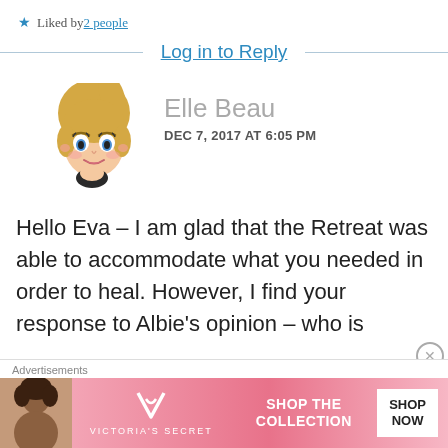★ Liked by 2 people
Log in to Reply
[Figure (illustration): Avatar of Elle Beau — animated bitmoji-style illustration of a blonde woman with ponytail]
Elle Beau
DEC 7, 2017 AT 6:05 PM
Hello Eva – I am glad that the Retreat was able to accommodate what you needed in order to heal. However, I find your response to Albie's opinion – who is
[Figure (advertisement): Victoria's Secret advertisement banner — SHOP THE COLLECTION / SHOP NOW button]
Advertisements